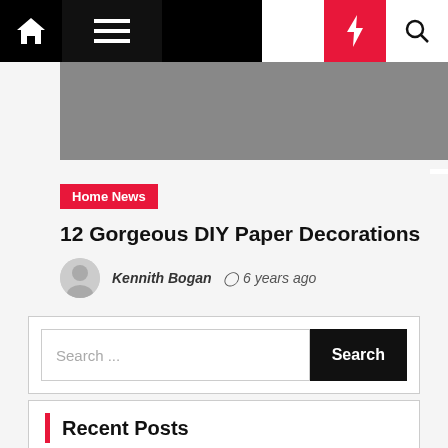Home News — 12 Gorgeous DIY Paper Decorations — Kennith Bogan — 6 years ago
[Figure (screenshot): Website navigation bar with home icon, hamburger menu, dark/light toggle, lightning bolt (red background), and search icon]
[Figure (photo): Gray hero image banner area]
Home News
12 Gorgeous DIY Paper Decorations
Kennith Bogan  6 years ago
Search ...
Recent Posts